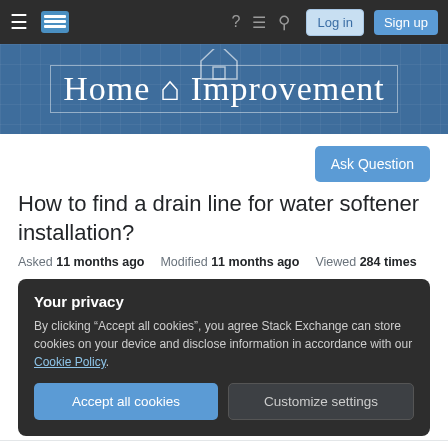Stack Exchange — Home Improvement — Navigation bar with Log in and Sign up buttons
[Figure (logo): Home Improvement Stack Exchange site banner with blueprint-style grid background and house icon]
Ask Question
How to find a drain line for water softener installation?
Asked 11 months ago   Modified 11 months ago   Viewed 284 times
Your privacy
By clicking "Accept all cookies", you agree Stack Exchange can store cookies on your device and disclose information in accordance with our Cookie Policy.
Accept all cookies   Customize settings
my Navien tankless water heater's condensation